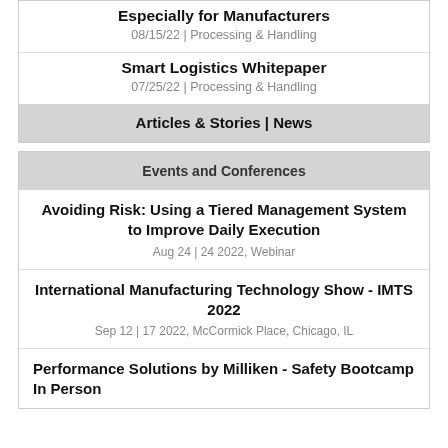Especially for Manufacturers
08/15/22 | Processing & Handling
Smart Logistics Whitepaper
07/25/22 | Processing & Handling
Articles & Stories | News
Events and Conferences
Avoiding Risk: Using a Tiered Management System to Improve Daily Execution
Aug 24 | 24 2022, Webinar
International Manufacturing Technology Show - IMTS 2022
Sep 12 | 17 2022, McCormick Place, Chicago, IL
Performance Solutions by Milliken - Safety Bootcamp In Person